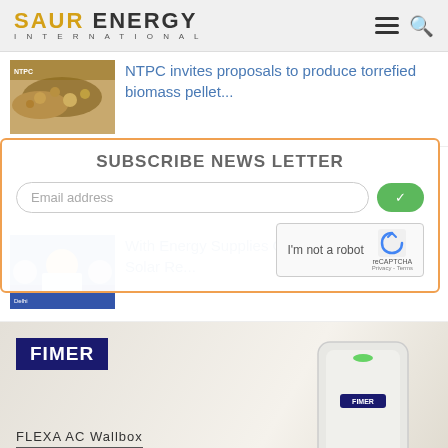SAUR ENERGY INTERNATIONAL
[Figure (photo): Thumbnail image of biomass pellets (hands holding grain-like pellets)]
NTPC invites proposals to produce torrefied biomass pellet...
[Figure (photo): Thumbnail image of Delhi Chief Minister speaking]
With Energy Supplies On Edge, Delhi's Poor Solar Re...
SUBSCRIBE NEWS LETTER
Email address
I'm not a robot  reCAPTCHA  Privacy - Terms
[Figure (photo): FIMER FLEXA AC Wallbox advertisement showing EV charger on wall with cable]
FIMER
FLEXA AC Wallbox
Let the energy drive you